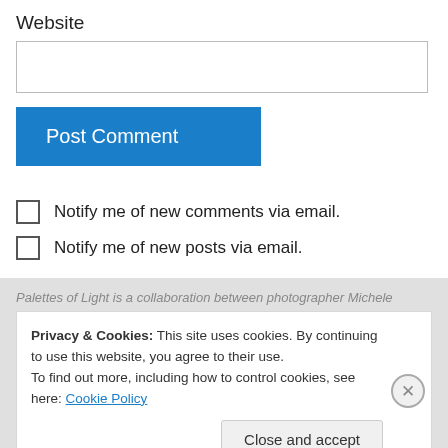Website
[Figure (screenshot): Empty text input field for Website]
[Figure (screenshot): Blue 'Post Comment' button]
Notify me of new comments via email.
Notify me of new posts via email.
Palettes of Light is a collaboration between photographer Michele
Privacy & Cookies: This site uses cookies. By continuing to use this website, you agree to their use.
To find out more, including how to control cookies, see here: Cookie Policy
[Figure (screenshot): Close (X) button on cookie banner]
[Figure (screenshot): 'Close and accept' button]